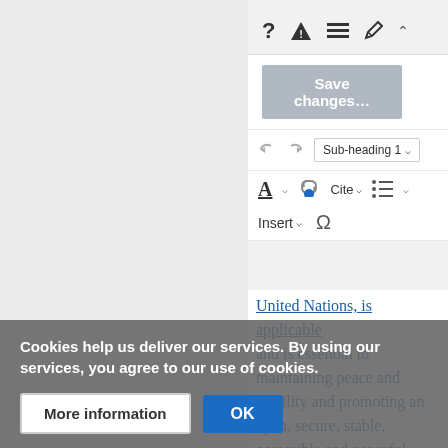[Figure (screenshot): Wikipedia/wiki editor toolbar showing: question mark, warning triangle, hamburger menu, pencil, and chevron icons at top. A greyed-out 'Save changes...' button. Below: undo/redo arrows and 'Sub-heading 1' dropdown. Font color (A with underline), link (chain with blue dot), Cite dropdown, list icon with chevron. Insert dropdown and Omega symbol.]
United Nations, is applicable and is essential to maintaining peace and stability and promoting an open, secure, stable, accessible and peaceful ICT environment. As this formulation, reflecting the state of the GGE, focuses on questions
Cookies help us deliver our services. By using our services, you agree to our use of cookies.